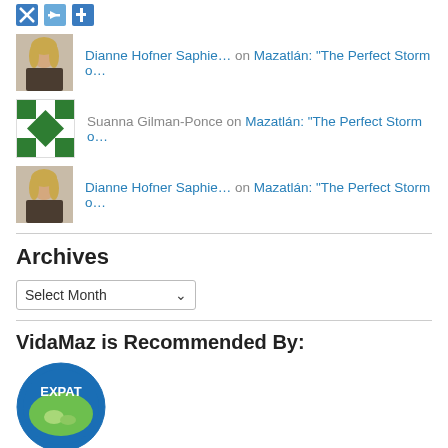[Figure (logo): Small blue and gray icon buttons at top]
Dianne Hofner Saphie… on Mazatlán: "The Perfect Storm o…"
Suanna Gilman-Ponce on Mazatlán: "The Perfect Storm o…"
Dianne Hofner Saphie… on Mazatlán: "The Perfect Storm o…"
Archives
Select Month
VidaMaz is Recommended By:
[Figure (logo): Expat circular badge logo with map graphic]